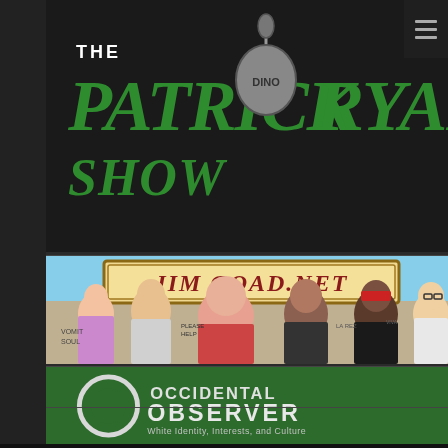[Figure (screenshot): The Patrick Dino Ryan Show logo banner — dark background with green stylized text 'THE PATRICK DINO RYAN SHOW' and a microphone graphic]
[Figure (illustration): JIM GOAD.NET banner — colorful cartoon illustration with caricatures of various people in front of a sign reading 'JIM GOAD.NET', set against a sky-blue background]
[Figure (logo): Occidental Observer banner — green background with circular O logo and text reading 'OCCIDENTAL OBSERVER - White Identity, Interests, and Culture']